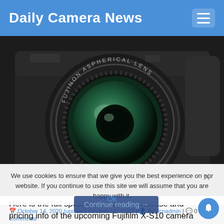Daily Camera News
[Figure (photo): Close-up photo of a Fujifilm camera with Fujinon Aspherical Lens, showing a large green-tinted lens element in detailed black camera body]
Here is the full specifications, press release and pricing info of the upcoming Fujifilm X-S10 camera and Fujifilm XF 10-24mm f/4 R…
We use cookies to ensure that we give you the best experience on our website. If you continue to use this site we will assume that you are happy with it.
Continue reading →
Ok
October 14, 2020 (updated October 14, 2020) | By dcnadmin | 0 Comments